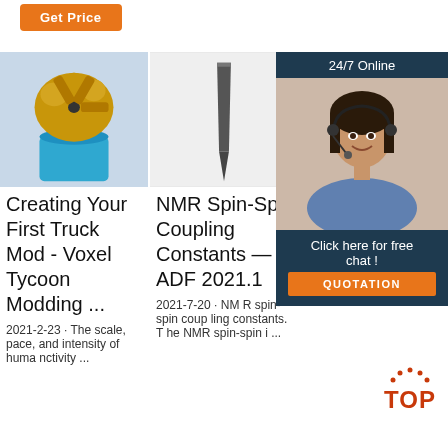[Figure (screenshot): Orange 'Get Price' button at top left]
[Figure (photo): Gold/bronze drill bit on blue cup background]
[Figure (photo): Metal chisel or pin tool on white background]
[Figure (photo): Woman with headset smiling, 24/7 Online chat widget with QUOTATION button]
Creating Your First Truck Mod - Voxel Tycoon Modding ...
NMR Spin-Spin Coupling Constants — ADF 2021.1
NM Wi Re DF Scm.Com
2021-2-23 · The scale, pace, and intensity of huma nctivity ...
2021-7-20 · NM R spin-spin coup ling constants. T he NMR spin-spin i ...
Supply Chain Ma nagement (SCM) at Flender is foc used on ...